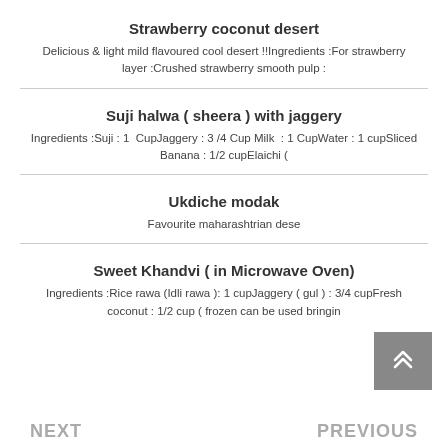Strawberry coconut desert
Delicious & light mild flavoured cool desert !!Ingredients :For strawberry layer :Crushed strawberry smooth pulp :
Suji halwa ( sheera ) with jaggery
Ingredients :Suji : 1  CupJaggery : 3 /4 Cup Milk  : 1 CupWater : 1 cupSliced Banana : 1/2 cupElaichi (
Ukdiche modak
Favourite maharashtrian dese
Sweet Khandvi ( in Microwave Oven)
Ingredients :Rice rawa (Idli rawa ): 1 cupJaggery ( gul ) : 3/4 cupFresh coconut : 1/2 cup ( frozen can be used bringin
NEXT   PREVIOUS